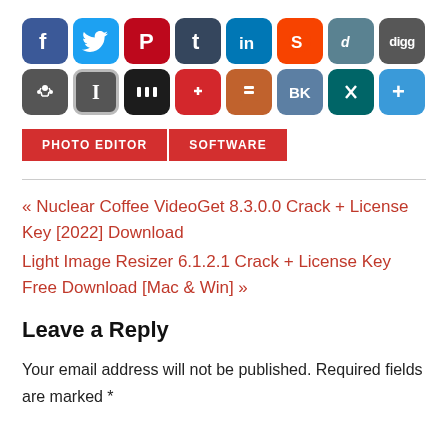[Figure (other): Row of social media sharing icon buttons: Facebook, Twitter, Pinterest, Tumblr, LinkedIn, Reddit, Delicious, Digg, Stumbleupon, Instapaper, MySpace/MM, Pocket, Plurk, VK, XING, More]
PHOTO EDITOR
SOFTWARE
« Nuclear Coffee VideoGet 8.3.0.0 Crack + License Key [2022] Download
Light Image Resizer 6.1.2.1 Crack + License Key Free Download [Mac & Win] »
Leave a Reply
Your email address will not be published. Required fields are marked *